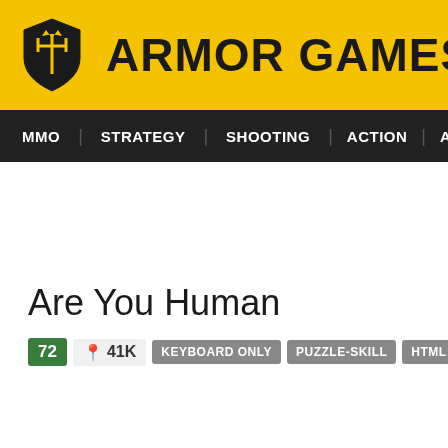[Figure (logo): Armor Games logo with yellow background, shield icon and bold text ARMOR GAMES]
MMO  STRATEGY  SHOOTING  ACTION  ADVENTURE  P...
Are You Human
72  41K  KEYBOARD ONLY  PUZZLE-SKILL  HTML  ROBOT  PUZZLE PLA...